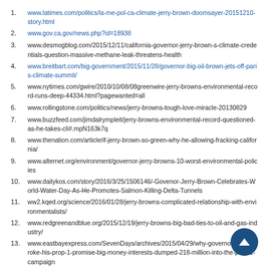1. www.latimes.com/politics/la-me-pol-ca-climate-jerry-brown-doomsayer-20151210-story.html
2. www.gov.ca.gov/news.php?id=18938
3. www.desmogblog.com/2015/12/11/california-governor-jerry-brown-s-climate-credentials-question-massive-methane-leak-threatens-health
4. www.breitbart.com/big-government/2015/11/28/governor-big-oil-brown-jets-off-paris-climate-summit/
5. www.nytimes.com/gwire/2010/10/08/08greenwire-jerry-browns-environmental-record-runs-deep-44334.html?pagewanted=all
6. www.rollingstone.com/politics/news/jerry-browns-tough-love-miracle-20130829
7. www.buzzfeed.com/jimdalrympleit/jerry-browns-environmental-record-questioned-as-he-takes-cli#.mpN163k7q
8. www.thenation.com/article/if-jerry-brown-so-green-why-he-allowing-fracking-california/
9. www.alternet.org/environment/governor-jerry-browns-10-worst-environmental-policies
10. www.dailykos.com/story/2016/3/25/1506146/-Govenor-Jerry-Brown-Celebrates-World-Water-Day-As-He-Promotes-Salmon-Killing-Delta-Tunnels
11. ww2.kqed.org/science/2016/01/28/jerry-browns-complicated-relationship-with-environmentalists/
12. www.redgreenandblue.org/2015/12/19/jerry-browns-big-bad-ties-to-oil-and-gas-industry/
13. www.eastbayexpress.com/SevenDays/archives/2015/04/29/why-governor-brown-broke-his-prop-1-promise-big-money-interests-dumped-218-million-into-the-prop-1-campaign
14. money.cnn.com/2016/03/29/investing/earthquakes-fracking-usgs-oil-gas/